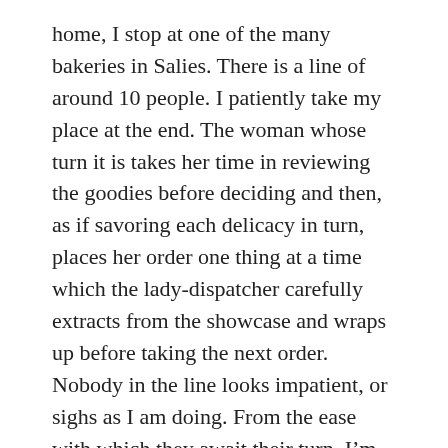home, I stop at one of the many bakeries in Salies. There is a line of around 10 people. I patiently take my place at the end. The woman whose turn it is takes her time in reviewing the goodies before deciding and then, as if savoring each delicacy in turn, places her order one thing at a time which the lady-dispatcher carefully extracts from the showcase and wraps up before taking the next order. Nobody in the line looks impatient, or sighs as I am doing. From the ease with which they await their turn, I'm sure they are not mentally huffing and puffing either. There is no hurry, as my friend says, in a town that still does not even have a stoplight.
When my turn comes, I choose a baguette with varied cereal seeds, pay and head out to where Salomé impatiently awaits me. We race home, eat (both of us, Salomé first) and then...